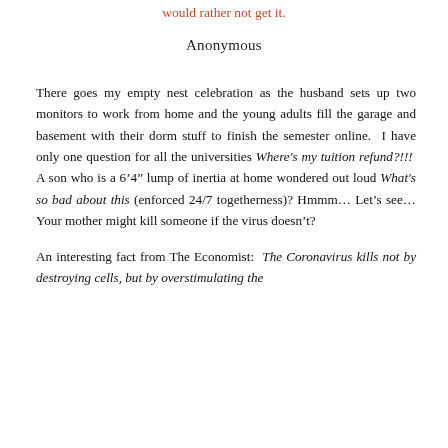would rather not get it.
Anonymous
There goes my empty nest celebration as the husband sets up two monitors to work from home and the young adults fill the garage and basement with their dorm stuff to finish the semester online.  I have only one question for all the universities Where's my tuition refund?!!!  A son who is a 6'4" lump of inertia at home wondered out loud What's so bad about this (enforced 24/7 togetherness)? Hmmm… Let's see…Your mother might kill someone if the virus doesn't?
An interesting fact from The Economist:  The Coronavirus kills not by destroying cells, but by overstimulating the